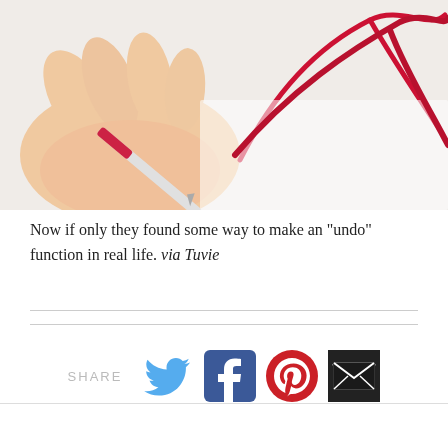[Figure (photo): A hand holding a stylus pen drawing a red scribbly line on white paper, viewed from above.]
Now if only they found some way to make an "undo" function in real life. via Tuvie
[Figure (infographic): Social share bar with SHARE label and icons for Twitter, Facebook, Pinterest, and Email.]